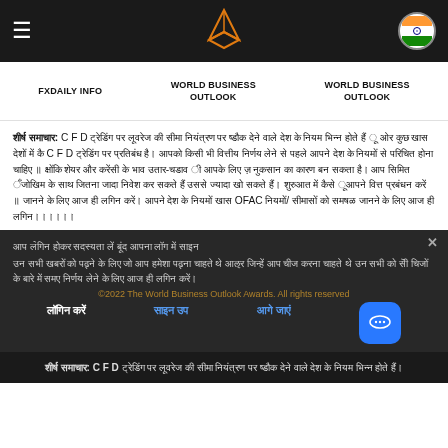Navigation bar with hamburger menu, logo, and India flag icon
FXDAILY INFO | WORLD BUSINESS OUTLOOK | WORLD BUSINESS OUTLOOK
Article text in Hindi script about CFD trading regulations and OFAC compliance
Dark overlay popup with Hindi text about trading regulations and subscription options
Footer dark bar with abbreviated article headline in Hindi about CFD trading